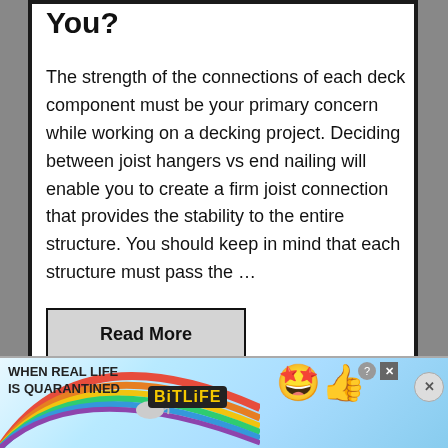You?
The strength of the connections of each deck component must be your primary concern while working on a decking project. Deciding between joist hangers vs end nailing will enable you to create a firm joist connection that provides the stability to the entire structure. You should keep in mind that each structure must pass the …
Read More
[Figure (infographic): Advertisement banner for BitLife mobile game with rainbow design, text 'WHEN REAL LIFE IS QUARANTINED' and emoji characters]